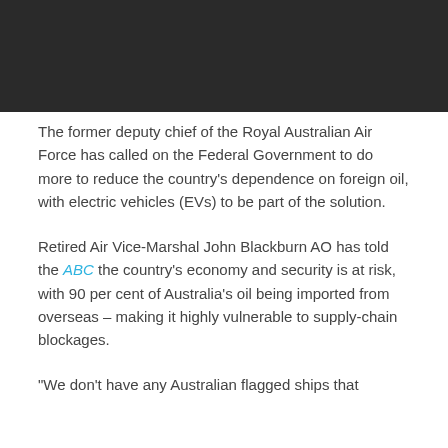[Figure (photo): Dark header image area at top of page]
The former deputy chief of the Royal Australian Air Force has called on the Federal Government to do more to reduce the country's dependence on foreign oil, with electric vehicles (EVs) to be part of the solution.
Retired Air Vice-Marshal John Blackburn AO has told the ABC the country's economy and security is at risk, with 90 per cent of Australia's oil being imported from overseas – making it highly vulnerable to supply-chain blockages.
“We don’t have any Australian flagged ships that